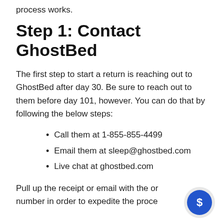process works.
Step 1: Contact GhostBed
The first step to start a return is reaching out to GhostBed after day 30. Be sure to reach out to them before day 101, however. You can do that by following the below steps:
Call them at 1-855-855-4499
Email them at sleep@ghostbed.com
Live chat at ghostbed.com
Pull up the receipt or email with the order number in order to expedite the process.